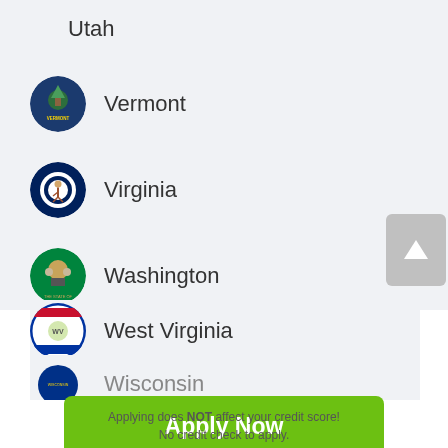Utah
Vermont
Virginia
Washington
West Virginia
Wisconsin
Apply Now
Applying does NOT affect your credit score! No credit check to apply.